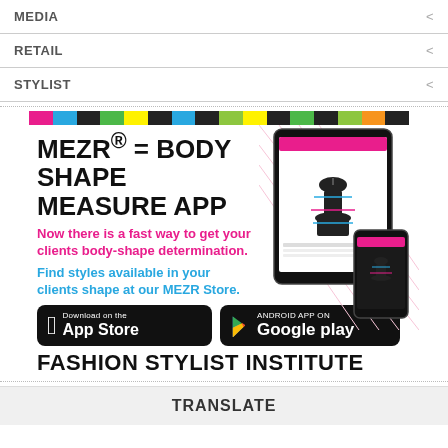MEDIA
RETAIL
STYLIST
[Figure (infographic): MEZR app advertisement with color bar, tablet/phone mockup, app store buttons, and Fashion Stylist Institute branding]
TRANSLATE